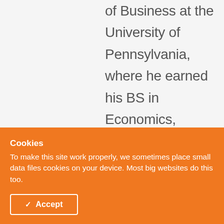of Business at the University of Pennsylvania, where he earned his BS in Economics, concentrating in
Cookies
To make this site work properly, we sometimes place small data files called cookies on your device. Most big websites do this too.